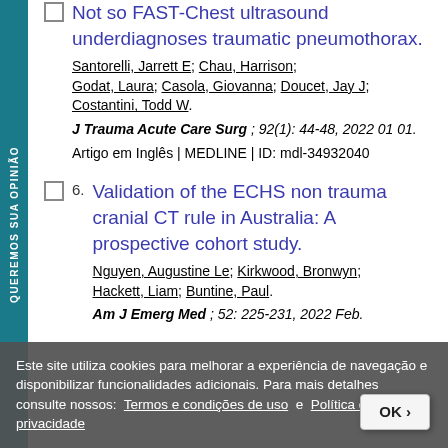Not so FAST-Chest ultrasound underdiagnoses traumatic pneumothorax.
Santorelli, Jarrett E; Chau, Harrison; Godat, Laura; Casola, Giovanna; Doucet, Jay J; Costantini, Todd W.
J Trauma Acute Care Surg ; 92(1): 44-48, 2022 01 01.
Artigo em Inglês | MEDLINE | ID: mdl-34932040
Validation of the ECHS non trauma cranial CT rule in Australia: A prospective cohort study.
Nguyen, Augustine Le; Kirkwood, Bronwyn; Hackett, Liam; Buntine, Paul.
Am J Emerg Med ; 52: 225-231, 2022 Feb.
Este site utiliza cookies para melhorar a experiência de navegação e disponibilizar funcionalidades adicionais. Para mais detalhes consulte nossos: Termos e condições de uso e Política de privacidade